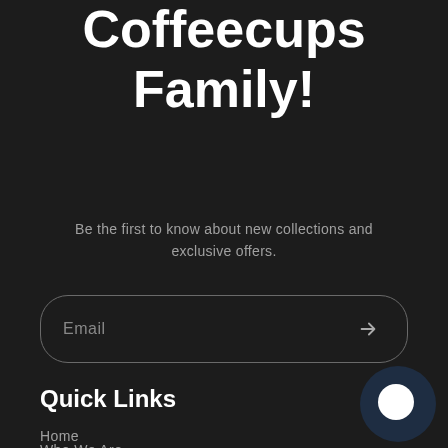Coffeecups Family!
Be the first to know about new collections and exclusive offers.
Email
Quick Links
Home
Who We Are